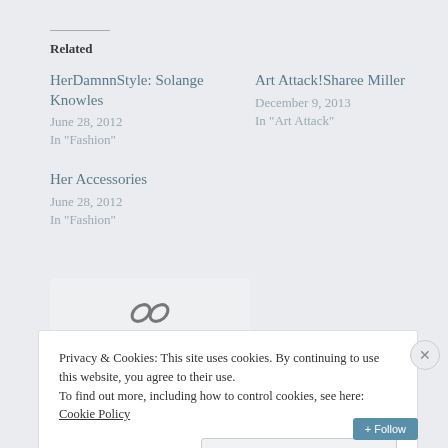Related
HerDamnnStyle: Solange Knowles
June 28, 2012
In "Fashion"
Art Attack!Sharee Miller
December 9, 2013
In "Art Attack"
Her Accessories
June 28, 2012
In "Fashion"
[Figure (other): Share/link icon (chain links symbol)]
Privacy & Cookies: This site uses cookies. By continuing to use this website, you agree to their use.
To find out more, including how to control cookies, see here: Cookie Policy
Close and accept